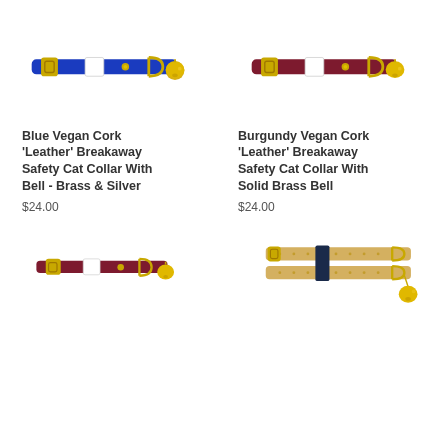[Figure (photo): Blue vegan cork leather breakaway safety cat collar with brass bell and silver breakaway buckle]
Blue Vegan Cork 'Leather' Breakaway Safety Cat Collar With Bell - Brass & Silver
$24.00
[Figure (photo): Burgundy vegan cork leather breakaway safety cat collar with solid brass bell and breakaway buckle]
Burgundy Vegan Cork 'Leather' Breakaway Safety Cat Collar With Solid Brass Bell
$24.00
[Figure (photo): Burgundy vegan cork leather breakaway safety cat collar with brass bell, smaller/kitten size]
[Figure (photo): Gold/natural vegan cork leather breakaway safety cat collar with brass bell, double strap style]